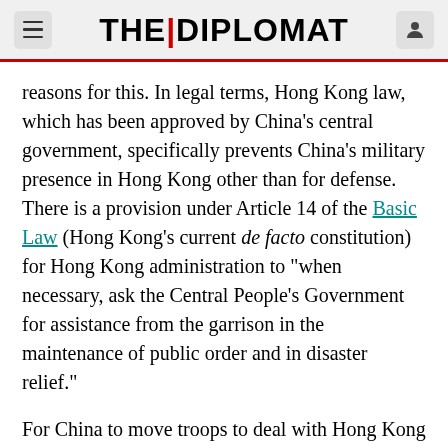THE DIPLOMAT
reasons for this. In legal terms, Hong Kong law, which has been approved by China's central government, specifically prevents China's military presence in Hong Kong other than for defense. There is a provision under Article 14 of the Basic Law (Hong Kong's current de facto constitution) for Hong Kong administration to "when necessary, ask the Central People's Government for assistance from the garrison in the maintenance of public order and in disaster relief."
For China to move troops to deal with Hong Kong protesters under this Article, Hong Kong's Chief Executive Carrie Lam has to officially request it. So far she has not. Under pressure from the central government, she may well do so. Even then there would be no obvious guarantees that it would end